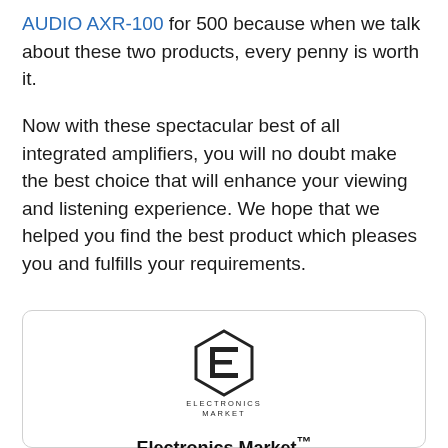AUDIO AXR-100 for 500 because when we talk about these two products, every penny is worth it.
Now with these spectacular best of all integrated amplifiers, you will no doubt make the best choice that will enhance your viewing and listening experience. We hope that we helped you find the best product which pleases you and fulfills your requirements.
[Figure (logo): Electronics Market logo — stylized hexagonal E icon above text reading ELECTRONICS MARKET]
Electronics Market™
We are passionate editors with technology in general and speaker products in particular. This